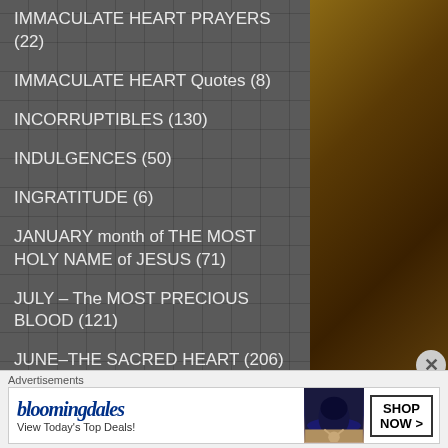IMMACULATE HEART PRAYERS (22)
IMMACULATE HEART Quotes (8)
INCORRUPTIBLES (130)
INDULGENCES (50)
INGRATITUDE (6)
JANUARY month of THE MOST HOLY NAME of JESUS (71)
JULY – The MOST PRECIOUS BLOOD (121)
JUNE–THE SACRED HEART (206)
LadyPOVERTY (9)
LAPSED Catholics (4)
LAST RITES (6)
Advertisements
[Figure (other): Bloomingdales advertisement banner with logo, tagline 'View Today's Top Deals!', woman in wide-brim hat, and 'SHOP NOW >' button]